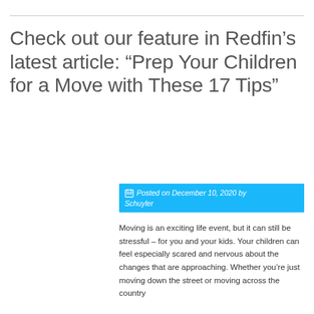Check out our feature in Redfin’s latest article: “Prep Your Children for a Move with These 17 Tips”
Posted on December 10, 2020 by Schuyler
Moving is an exciting life event, but it can still be stressful – for you and your kids. Your children can feel especially scared and nervous about the changes that are approaching. Whether you’re just moving down the street or moving across the country